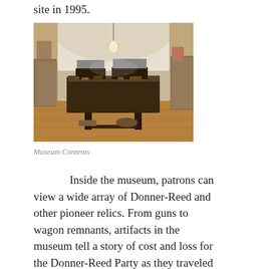site in 1995.
[Figure (photo): Interior of a museum room showing a large dark wooden display table covered with artifacts and relics, framed maps or photographs on the table surface, display cases along the walls, and a hanging lamp from an arched ceiling. Wooden floor visible in the foreground.]
Museum Contents
Inside the museum, patrons can view a wide array of Donner-Reed and other pioneer relics. From guns to wagon remnants, artifacts in the museum tell a story of cost and loss for the Donner-Reed Party as they traveled across the salt flats, and it